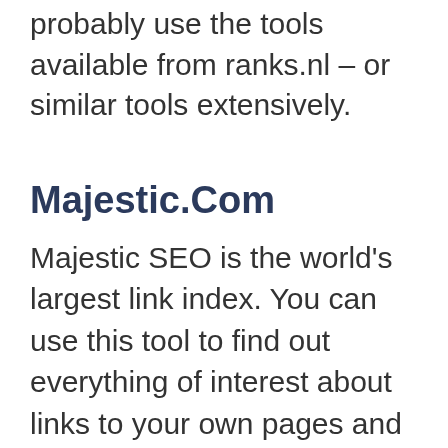probably use the tools available from ranks.nl – or similar tools extensively.
Majestic.Com
Majestic SEO is the world's largest link index. You can use this tool to find out everything of interest about links to your own pages and what your competitors locally in Newcastle are doing, or what national and international